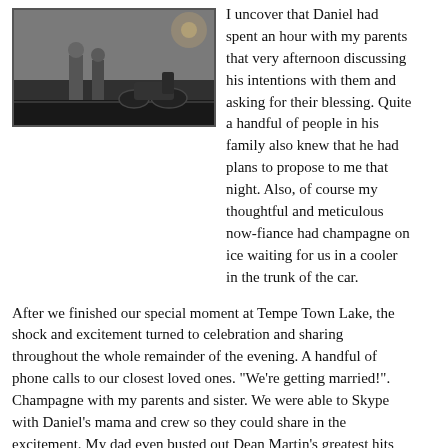[Figure (photo): Dark photograph showing two people standing, with a motorcycle visible in the background on what appears to be a road or parking area at night.]
I uncover that Daniel had spent an hour with my parents that very afternoon discussing his intentions with them and asking for their blessing. Quite a handful of people in his family also knew that he had plans to propose to me that night. Also, of course my thoughtful and meticulous now-fiance had champagne on ice waiting for us in a cooler in the trunk of the car.
After we finished our special moment at Tempe Town Lake, the shock and excitement turned to celebration and sharing throughout the whole remainder of the evening. A handful of phone calls to our closest loved ones. "We're getting married!". Champagne with my parents and sister. We were able to Skype with Daniel's mama and crew so they could share in the excitement. My dad even busted out Dean Martin's greatest hits record on the phonograph that I didn't even know he had.
Probably forty times I said to Daniel that night the words "We're getting married." Every time the words left my mouth they became more and more real, and thus more and more exciting. He would (and still does) just look back at me lovingly. "Yes, we're getting married."